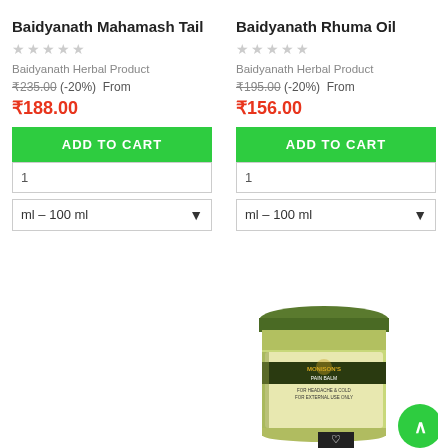Baidyanath Mahamash Tail
★★★★★
Baidyanath Herbal Product
₹235.00 (-20%) From
₹188.00
ADD TO CART
1
ml – 100 ml
Baidyanath Rhuma Oil
★★★★★
Baidyanath Herbal Product
₹195.00 (-20%) From
₹156.00
ADD TO CART
1
ml – 100 ml
[Figure (photo): Monison's Pain Balm jar, green label, for headache and cold, external use only]